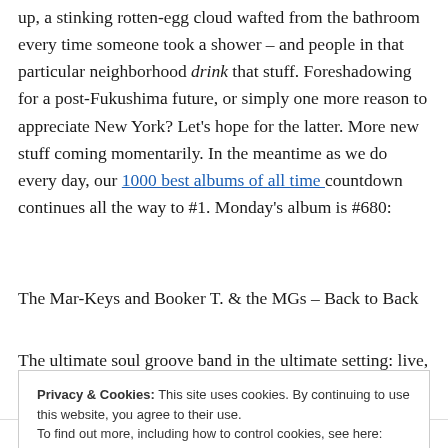up, a stinking rotten-egg cloud wafted from the bathroom every time someone took a shower – and people in that particular neighborhood drink that stuff. Foreshadowing for a post-Fukushima future, or simply one more reason to appreciate New York? Let's hope for the latter. More new stuff coming momentarily. In the meantime as we do every day, our 1000 best albums of all time countdown continues all the way to #1. Monday's album is #680:
The Mar-Keys and Booker T. & the MGs – Back to Back
The ultimate soul groove band in the ultimate setting: live,
Privacy & Cookies: This site uses cookies. By continuing to use this website, you agree to their use.
To find out more, including how to control cookies, see here: Cookie Policy